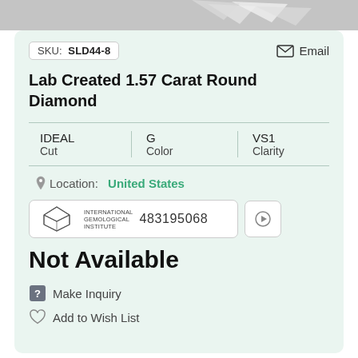[Figure (photo): Gray photo strip at top showing partial image of diamond jewelry]
SKU: SLD44-8
Email
Lab Created 1.57 Carat Round Diamond
| Cut | Color | Clarity |
| --- | --- | --- |
| IDEAL | G | VS1 |
Location: United States
INTERNATIONAL GEMOLOGICAL INSTITUTE  483195068
Not Available
Make Inquiry
Add to Wish List